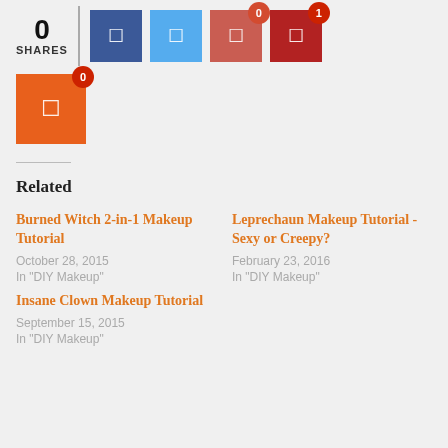[Figure (infographic): Social share bar showing 0 shares with share buttons (Facebook dark blue, Twitter light blue, Pinterest red-orange, another red button each with badge counts 0 and 1, and a large orange button with badge 0)]
0 SHARES
Related
Burned Witch 2-in-1 Makeup Tutorial
October 28, 2015
In "DIY Makeup"
Leprechaun Makeup Tutorial - Sexy or Creepy?
February 23, 2016
In "DIY Makeup"
Insane Clown Makeup Tutorial
September 15, 2015
In "DIY Makeup"